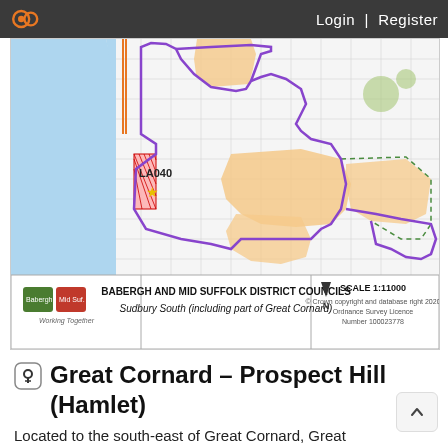Login | Register
[Figure (map): Planning map showing Sudbury South (including part of Great Cornard) with boundary lines, land parcels highlighted in orange, blue river area on left, and LA040 label with star marker. Scale 1:11000. Published by Babergh and Mid Suffolk District Councils.]
Great Cornard – Prospect Hill (Hamlet)
Located to the south-east of Great Cornard, Great Cornard – Prospect Hill is classified as a Hamlet